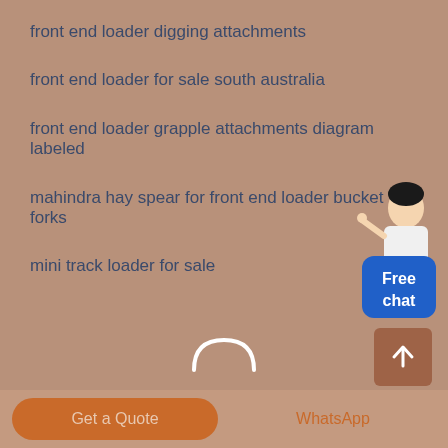front end loader digging attachments
front end loader for sale south australia
front end loader grapple attachments diagram labeled
mahindra hay spear for front end loader bucket forks
mini track loader for sale
[Figure (screenshot): Free chat badge with avatar figure in white shirt, blue rounded rectangle button with 'Free chat' text]
[Figure (infographic): Loading spinner arc (white semi-circle arc)]
[Figure (screenshot): Search bar with placeholder text 'Search Here' and search icon on brown background]
[Figure (screenshot): Scroll-up arrow button (dark brown square with upward arrow)]
[Figure (screenshot): Bottom action bar with 'Get a Quote' orange button and 'WhatsApp' text button]